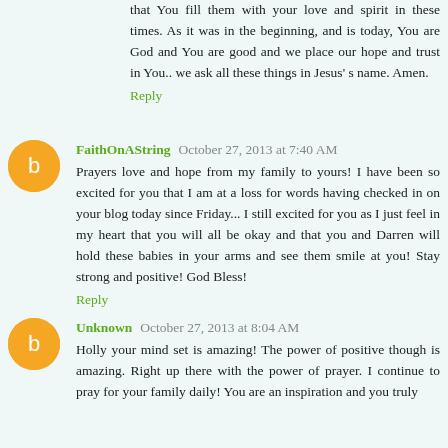that You fill them with your love and spirit in these times. As it was in the beginning, and is today, You are God and You are good and we place our hope and trust in You.. we ask all these things in Jesus' s name. Amen.
Reply
FaithOnAString  October 27, 2013 at 7:40 AM
Prayers love and hope from my family to yours! I have been so excited for you that I am at a loss for words having checked in on your blog today since Friday... I still excited for you as I just feel in my heart that you will all be okay and that you and Darren will hold these babies in your arms and see them smile at you! Stay strong and positive! God Bless!
Reply
Unknown  October 27, 2013 at 8:04 AM
Holly your mind set is amazing! The power of positive though is amazing. Right up there with the power of prayer. I continue to pray for your family daily! You are an inspiration and you truly